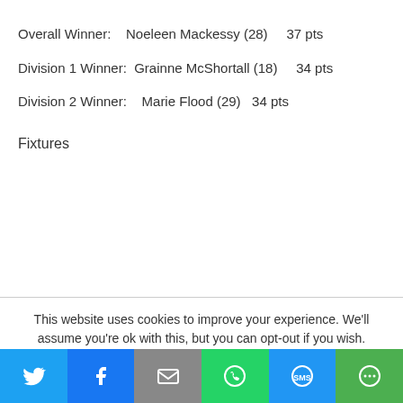Overall Winner:   Noeleen Mackessy (28)    37 pts
Division 1 Winner:  Grainne McShortall (18)    34 pts
Division 2 Winner:   Marie Flood (29)   34 pts
Fixtures
This website uses cookies to improve your experience. We'll assume you're ok with this, but you can opt-out if you wish.
[Figure (other): Social share bar with Twitter, Facebook, Email, WhatsApp, SMS, and More buttons]